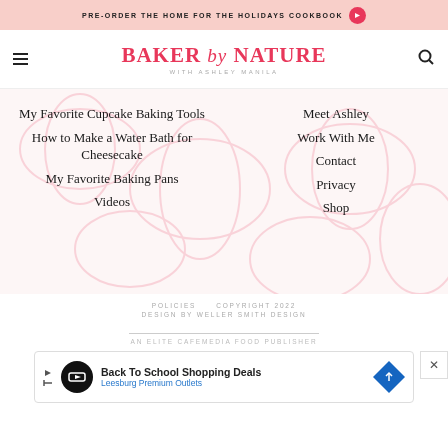PRE-ORDER THE HOME FOR THE HOLIDAYS COOKBOOK →
BAKER by NATURE WITH ASHLEY MANILA
My Favorite Cupcake Baking Tools
How to Make a Water Bath for Cheesecake
My Favorite Baking Pans
Videos
Meet Ashley
Work With Me
Contact
Privacy
Shop
POLICIES   COPYRIGHT 2022
DESIGN BY WELLER SMITH DESIGN
AN ELITE CAFEMEDIA FOOD PUBLISHER
[Figure (screenshot): Advertisement banner: Back To School Shopping Deals - Leesburg Premium Outlets with play button, logo and diamond shaped icon]